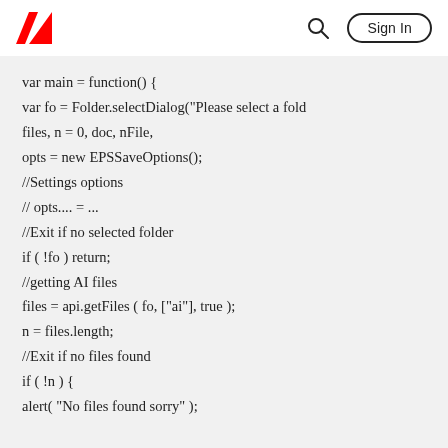Adobe | Sign In
var main = function() {
var fo = Folder.selectDialog("Please select a fold
files, n = 0, doc, nFile,
opts = new EPSSaveOptions();
//Settings options
// opts.... = ...
//Exit if no selected folder
if ( !fo ) return;
//getting AI files
files = api.getFiles ( fo, ["ai"], true );
n = files.length;
//Exit if no files found
if ( !n ) {
alert( "No files found sorry" );